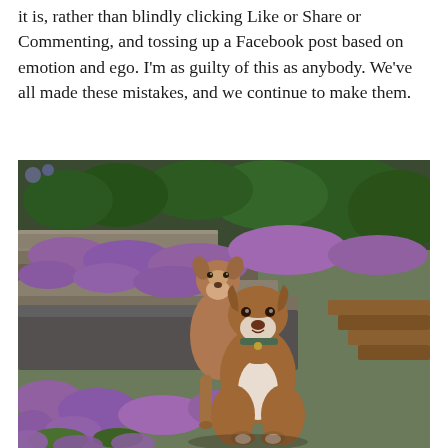it is, rather than blindly clicking Like or Share or Commenting, and tossing up a Facebook post based on emotion and ego. I'm as guilty of this as anybody. We've all made these mistakes, and we continue to make them.
[Figure (photo): Two pit bull type dogs posing in a garden with purple flowers and stone steps. One dog is standing behind the other which is sitting in front. Lush green shrubs and vibrant purple ground cover flowers fill the background.]